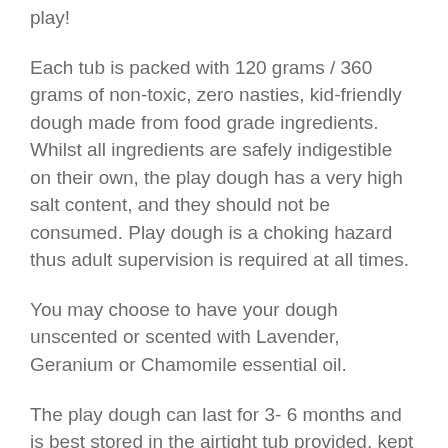play!
Each tub is packed with 120 grams / 360 grams of non-toxic, zero nasties, kid-friendly dough made from food grade ingredients. Whilst all ingredients are safely indigestible on their own, the play dough has a very high salt content, and they should not be consumed. Play dough is a choking hazard thus adult supervision is required at all times.
You may choose to have your dough unscented or scented with Lavender, Geranium or Chamomile essential oil.
The play dough can last for 3- 6 months and is best stored in the airtight tub provided, kept in a cool and dry place. Also keep the dough away from direct